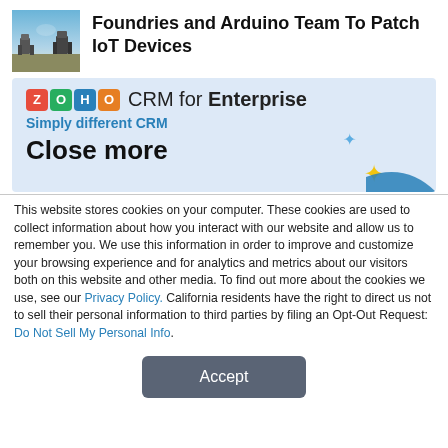[Figure (photo): Thumbnail image of robotic figures against a sky background]
Foundries and Arduino Team To Patch IoT Devices
[Figure (screenshot): Zoho CRM for Enterprise advertisement banner with tagline 'Simply different CRM' and 'Close more' text, with decorative sparkle and wave graphics]
This website stores cookies on your computer. These cookies are used to collect information about how you interact with our website and allow us to remember you. We use this information in order to improve and customize your browsing experience and for analytics and metrics about our visitors both on this website and other media. To find out more about the cookies we use, see our Privacy Policy. California residents have the right to direct us not to sell their personal information to third parties by filing an Opt-Out Request: Do Not Sell My Personal Info.